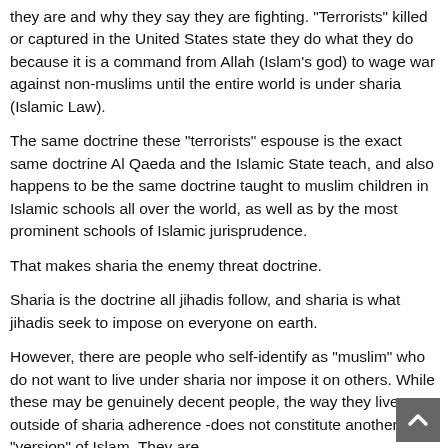they are and why they say they are fighting. "Terrorists" killed or captured in the United States state they do what they do because it is a command from Allah (Islam's god) to wage war against non-muslims until the entire world is under sharia (Islamic Law).
The same doctrine these “terrorists” espouse is the exact same doctrine Al Qaeda and the Islamic State teach, and also happens to be the same doctrine taught to muslim children in Islamic schools all over the world, as well as by the most prominent schools of Islamic jurisprudence.
That makes sharia the enemy threat doctrine.
Sharia is the doctrine all jihadis follow, and sharia is what jihadis seek to impose on everyone on earth.
However, there are people who self-identify as “muslim” who do not want to live under sharia nor impose it on others. While these may be genuinely decent people, the way they live – outside of sharia adherence -does not constitute another “version” of Islam. They are